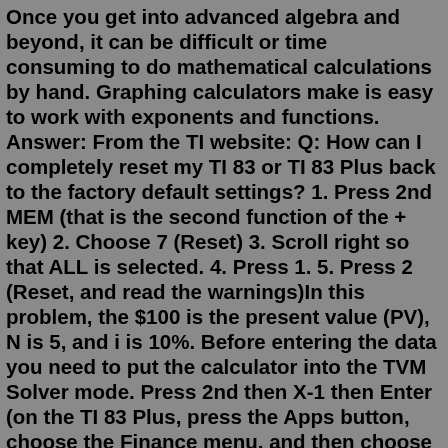Once you get into advanced algebra and beyond, it can be difficult or time consuming to do mathematical calculations by hand. Graphing calculators make is easy to work with exponents and functions. Answer: From the TI website: Q: How can I completely reset my TI 83 or TI 83 Plus back to the factory default settings? 1. Press 2nd MEM (that is the second function of the + key) 2. Choose 7 (Reset) 3. Scroll right so that ALL is selected. 4. Press 1. 5. Press 2 (Reset, and read the warnings)In this problem, the $100 is the present value (PV), N is 5, and i is 10%. Before entering the data you need to put the calculator into the TVM Solver mode. Press 2nd then X-1 then Enter (on the TI 83 Plus, press the Apps button, choose the Finance menu, and then choose TVM Solver) . Your screen should now look like the one in the picture. Product Information. The Texas Instruments TI-83 Plus graphing calculator is the tool of choice for engineers, mathematicians, and science professionals. With the right features, reliable calculations, and quality display, it has everything you